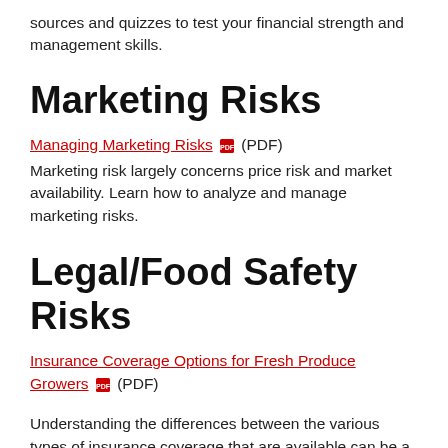sources and quizzes to test your financial strength and management skills.
Marketing Risks
Managing Marketing Risks (PDF)
Marketing risk largely concerns price risk and market availability. Learn how to analyze and manage marketing risks.
Legal/Food Safety Risks
Insurance Coverage Options for Fresh Produce Growers (PDF)
Understanding the differences between the various types of insurance coverage that are available can be a